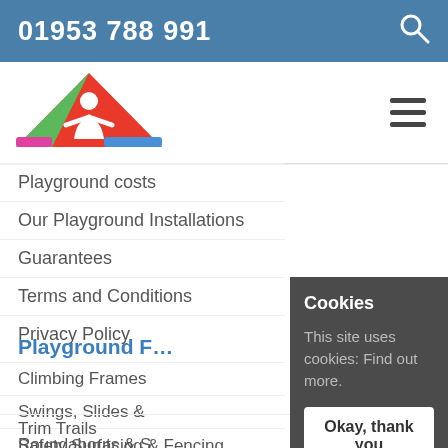01953 788 991
[Figure (logo): Colorful triangle logo with a person figure inside, green, red, blue and pink colors]
Playground costs
Our Playground Installations
Guarantees
Terms and Conditions
Privacy Policy
Playground F…
Climbing Frames
Swings, Slides &
Roundabouts & S…
Trim Trails
Multi Use Games…
Safety Surfacing & Fencing
Cookies

This site uses cookies: Find out more.

Okay, thank you